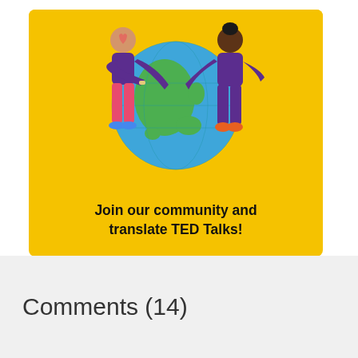[Figure (illustration): Yellow banner illustration showing two cartoon figures embracing a globe, with text 'Join our community and translate TED Talks!' below the illustration.]
Comments (14)